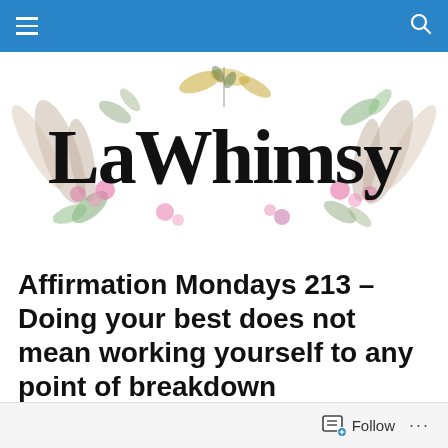LaWhimsy navigation bar
[Figure (logo): LaWhimsy blog logo with watercolor floral and crystal decorations surrounding the serif text 'LaWhimsy']
Affirmation Mondays 213 – Doing your best does not mean working yourself to any point of breakdown
Follow ...